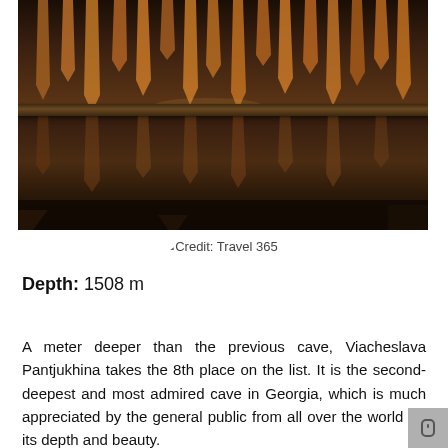[Figure (photo): Interior of a cave (Viacheslava Pantjukhina) showing stalactites hanging from the ceiling, reflected in a still underground pool, with warm amber/brown tones.]
Credit: Travel 365
Depth: 1508 m
A meter deeper than the previous cave, Viacheslava Pantjukhina takes the 8th place on the list. It is the second-deepest and most admired cave in Georgia, which is much appreciated by the general public from all over the world for its depth and beauty.